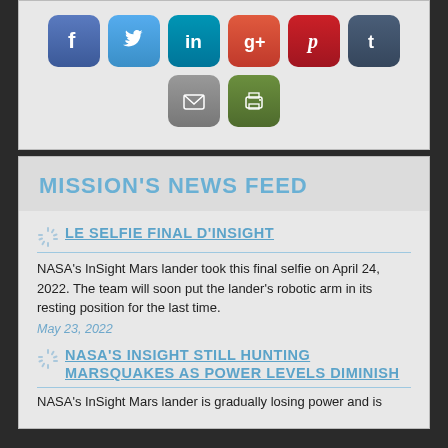[Figure (infographic): Social media sharing icons: Facebook (blue), Twitter (light blue), LinkedIn (teal), Google+ (red), Pinterest (dark red), Tumblr (dark blue-grey), Email (grey), Print (green)]
MISSION'S NEWS FEED
LE SELFIE FINAL D'INSIGHT
NASA's InSight Mars lander took this final selfie on April 24, 2022. The team will soon put the lander's robotic arm in its resting position for the last time.
May 23, 2022
NASA'S INSIGHT STILL HUNTING MARSQUAKES AS POWER LEVELS DIMINISH
NASA's InSight Mars lander is gradually losing power and is